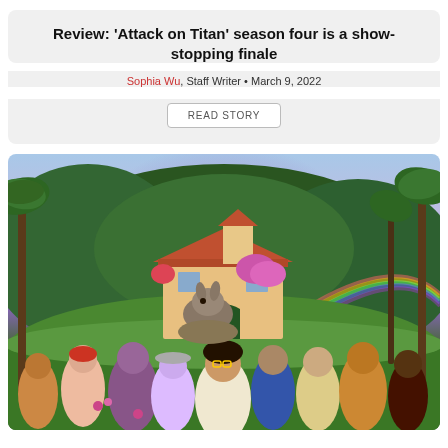Review: 'Attack on Titan' season four is a show-stopping finale
Sophia Wu, Staff Writer • March 9, 2022
READ STORY
[Figure (illustration): Disney's Encanto movie poster showing animated characters including Mirabel and her family in front of a colorful magical house surrounded by lush tropical jungle with a rainbow in the background and a donkey perched on a rock above the group]